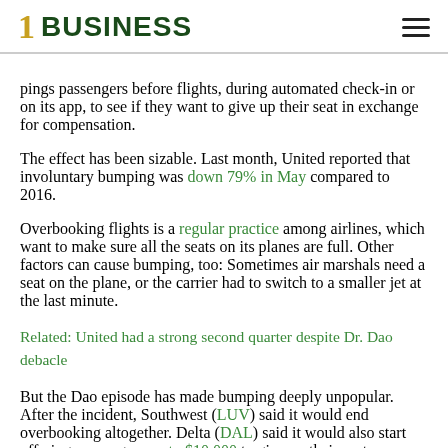1 BUSINESS
pings passengers before flights, during automated check-in or on its app, to see if they want to give up their seat in exchange for compensation.
The effect has been sizable. Last month, United reported that involuntary bumping was down 79% in May compared to 2016.
Overbooking flights is a regular practice among airlines, which want to make sure all the seats on its planes are full. Other factors can cause bumping, too: Sometimes air marshals need a seat on the plane, or the carrier had to switch to a smaller jet at the last minute.
Related: United had a strong second quarter despite Dr. Dao debacle
But the Dao episode has made bumping deeply unpopular. After the incident, Southwest (LUV) said it would end overbooking altogether. Delta (DAL) said it would also start offering passengers up to $10,000 to give up their seats on overbooked flights.
Munoz also said Wednesday that the airline plans to revamp its social